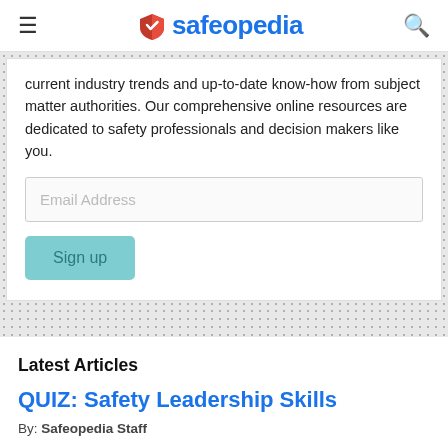safeopedia
current industry trends and up-to-date know-how from subject matter authorities. Our comprehensive online resources are dedicated to safety professionals and decision makers like you.
Latest Articles
QUIZ: Safety Leadership Skills
By: Safeopedia Staff